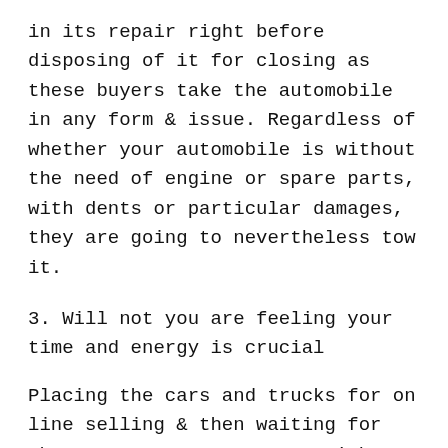in its repair right before disposing of it for closing as these buyers take the automobile in any form & issue. Regardless of whether your automobile is without the need of engine or spare parts, with dents or particular damages, they are going to nevertheless tow it.
3. Will not you are feeling your time and energy is crucial
Placing the cars and trucks for on line selling & then waiting for the consumers to turn out with good offers by no means occurs in per day. You not only have to look ahead to the consumers but also have to make sure the following checklist is all met with the customer's have to have: